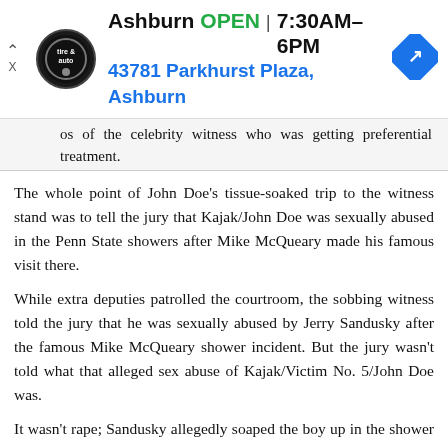[Figure (infographic): Advertisement banner for a tire and auto service in Ashburn, showing logo, OPEN status, hours 7:30AM-6PM, address 43781 Parkhurst Plaza, Ashburn, and a navigation arrow icon.]
os of the celebrity witness who was getting preferential treatment.
The whole point of John Doe's tissue-soaked trip to the witness stand was to tell the jury that Kajak/John Doe was sexually abused in the Penn State showers after Mike McQueary made his famous visit there.
While extra deputies patrolled the courtroom, the sobbing witness told the jury that he was sexually abused by Jerry Sandusky after the famous Mike McQueary shower incident. But the jury wasn't told what that alleged sex abuse of Kajak/Victim No. 5/John Doe was.
It wasn't rape; Sandusky allegedly soaped the boy up in the shower and may have touched his penis.